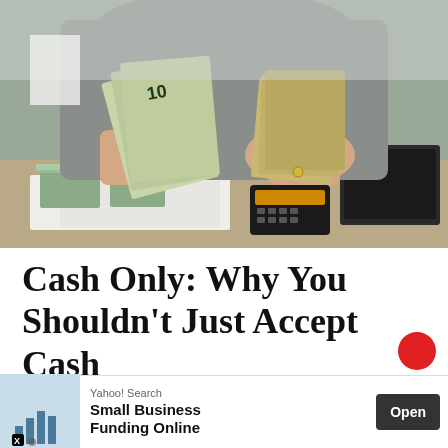[Figure (photo): A person in a grey sweater holding and counting US dollar bills with both hands over a wooden desk with stacks of cash, papers, a calculator, and a laptop visible in the background.]
Cash Only: Why You Shouldn’t Just Accept Cash
August 17, 2022
[Figure (infographic): Yahoo! Search advertisement banner: Small Business Funding Online. Shows a bar chart icon on a blue background on the left, Yahoo! Search label, bold headline, and an Open button on a dark background. X close button visible.]